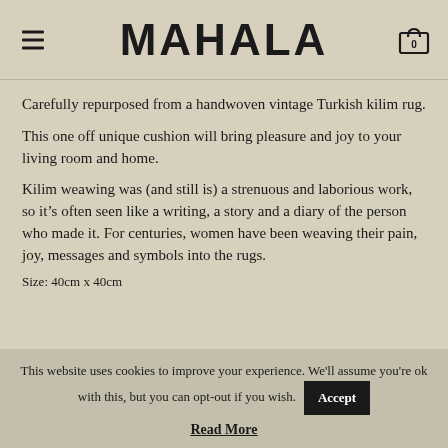MAHALA
Carefully repurposed from a handwoven vintage Turkish kilim rug.
This one off unique cushion will bring pleasure and joy to your living room and home.
Kilim weawing was (and still is) a strenuous and laborious work, so it’s often seen like a writing, a story and a diary of the person who made it. For centuries, women have been weaving their pain, joy, messages and symbols into the rugs.
Size: 40cm x 40cm
This website uses cookies to improve your experience. We'll assume you're ok with this, but you can opt-out if you wish.
Read More